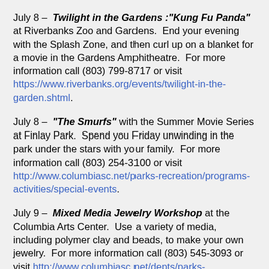July 8 – Twilight in the Gardens :"Kung Fu Panda" at Riverbanks Zoo and Gardens. End your evening with the Splash Zone, and then curl up on a blanket for a movie in the Gardens Amphitheatre. For more information call (803) 799-8717 or visit https://www.riverbanks.org/events/twilight-in-the-garden.shtml.
July 8 – "The Smurfs" with the Summer Movie Series at Finlay Park. Spend you Friday unwinding in the park under the stars with your family. For more information call (803) 254-3100 or visit http://www.columbiasc.net/parks-recreation/programs-activities/special-events.
July 9 – Mixed Media Jewelry Workshop at the Columbia Arts Center. Use a variety of media, including polymer clay and beads, to make your own jewelry. For more information call (803) 545-3093 or visit http://www.columbiasc.net/depts/parks-